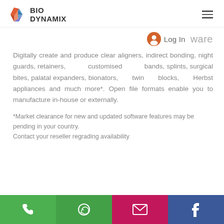[Figure (logo): BioDynamix logo with geometric leaf/faceted shape in blue, red, orange, and text BIO DYNAMIX]
Log In   ware
Digitally create and produce clear aligners, indirect bonding, night guards, retainers, customised bands, splints, surgical bites, palatal expanders, bionators, twin blocks, Herbst appliances and much more*. Open file formats enable you to manufacture in-house or externally.
*Market clearance for new and updated software features may be pending in your country.
Contact your reseller regrading availability